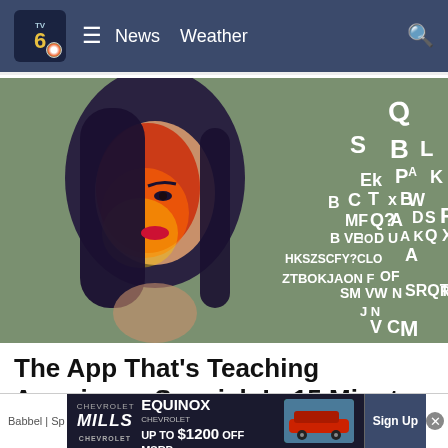TV6 NBC | News   Weather
[Figure (photo): A woman with dark hair and dramatic lighting — her face illuminated with red and orange tones — with scattered white alphabet letters floating around her, suggesting language learning.]
The App That's Teaching Americans Spanish In 15 Minutes A Day
Babbel | Sp...
NEW 2022 CHEVROLET EQUINOX UP TO $1200 OFF MSRP
Sign Up